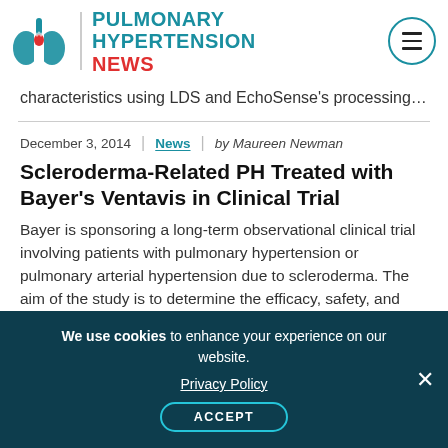[Figure (logo): Pulmonary Hypertension News logo with lungs icon and site name]
characteristics using LDS and EchoSense's processing…
December 3, 2014 | News | by Maureen Newman
Scleroderma-Related PH Treated with Bayer's Ventavis in Clinical Trial
Bayer is sponsoring a long-term observational clinical trial involving patients with pulmonary hypertension or pulmonary arterial hypertension due to scleroderma. The aim of the study is to determine the efficacy, safety, and tolerability of
We use cookies to enhance your experience on our website. Privacy Policy ACCEPT